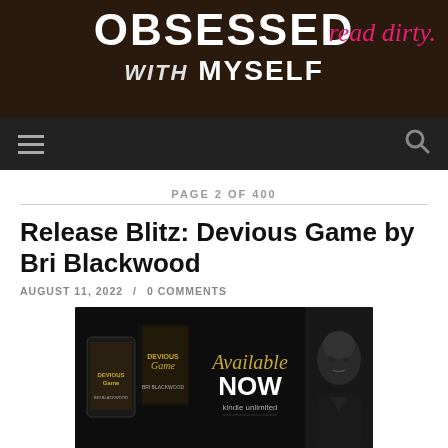OBSESSED with MYSELF — read dirty.
PAGE 2 OF 400
Release Blitz: Devious Game by Bri Blackwood
AUGUST 11, 2022 / 0 COMMENTS
[Figure (photo): Book promotional banner for 'Devious Game' by Bri Blackwood showing book cover and phone mockup on left, 'Available NOW kindle unlimited' text in center, and a man's portrait on right, all on black background.]